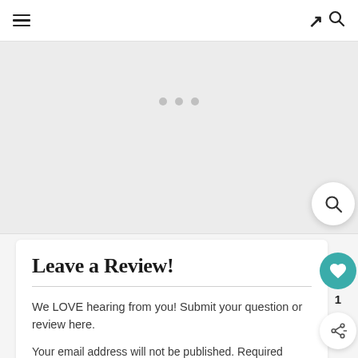[Figure (screenshot): Website header with hamburger menu icon on left and search icon on right, on white background]
[Figure (screenshot): Slider dots navigation: three gray dots indicating image carousel position]
[Figure (screenshot): Gray image placeholder area representing a carousel/slideshow image region]
[Figure (screenshot): Circular white search button with magnifying glass icon]
Leave a Review!
We LOVE hearing from you! Submit your question or review here.
Your email address will not be published. Required fields are marked*
[Figure (screenshot): Teal circular heart/like button with count of 1, and white circular share button below it]